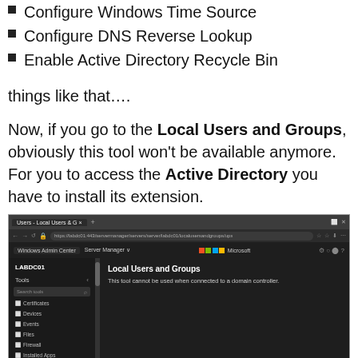Configure Windows Time Source
Configure DNS Reverse Lookup
Enable Active Directory Recycle Bin
things like that….
Now, if you go to the Local Users and Groups, obviously this tool won't be available anymore. For you to access the Active Directory you have to install its extension.
[Figure (screenshot): Screenshot of Windows Admin Center showing Local Users and Groups tool unavailable on a domain controller (LABDC01). The tool panel displays the message: 'This tool cannot be used when connected to a domain controller.' The sidebar shows navigation items including Certificates, Devices, Events, Files, Firewall, Installed Apps, Local Users & Groups (highlighted), and Network.]